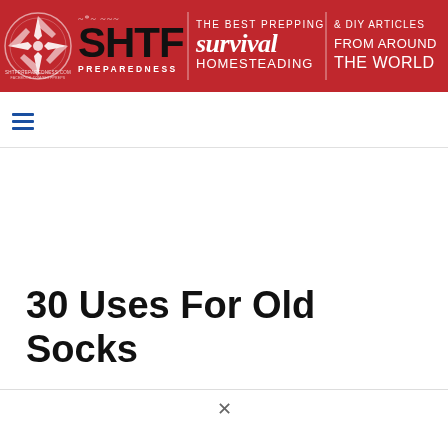[Figure (logo): SHTF Preparedness website banner in red with compass logo, bold SHTF text, and tagline 'The Best Prepping Survival Homesteading & DIY Articles From Around The World']
≡
30 Uses For Old Socks
×